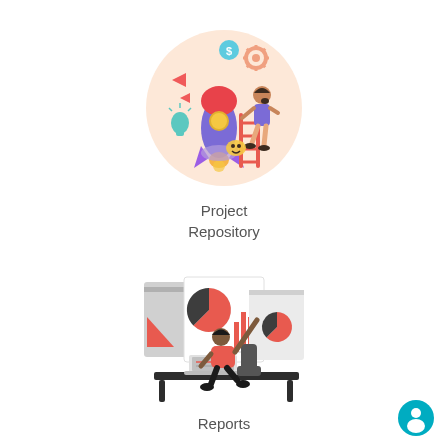[Figure (illustration): Circular illustration of a rocket launch scene with a person climbing a ladder, gears, lightbulb, arrows, and a dollar sign coin, on a light peach/beige background circle]
Project
Repository
[Figure (illustration): Illustration of a person in a red shirt sitting at a desk with a laptop, pointing at charts and graphs on boards/screens behind them, including pie charts and bar charts in red and grey]
Reports
[Figure (other): Teal circular chat/support button with a person icon in the bottom-right corner]